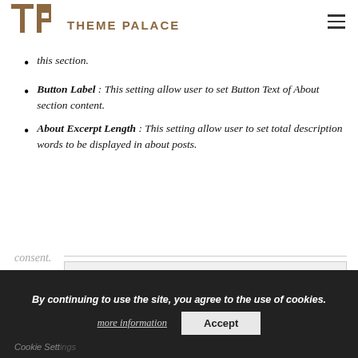THEME PALACE
Button Label : This setting allow user to set Button Text of About section content.
About Excerpt Length : This setting allow user to set total description words to be displayed in about posts.
Sub Title
We use cookies on our website to give you the most relevant experience by remembering your preferences and repeat visits. By clicking “Accept All”, you consent to the use of ALL the cookies. However, you may visit “Cookie Settings” to provide a controlled consent.
By continuing to use the site, you agree to the use of cookies. more information Accept